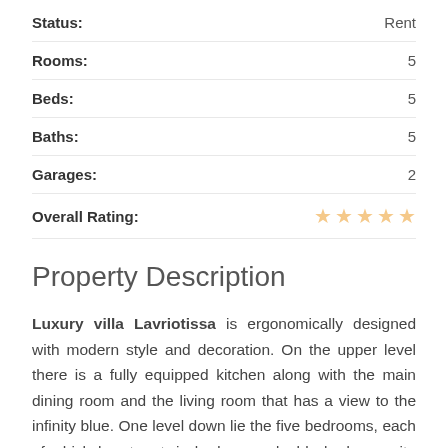Status: Rent
Rooms: 5
Beds: 5
Baths: 5
Garages: 2
Overall Rating: ★★★★★
Property Description
Luxury villa Lavriotissa is ergonomically designed with modern style and decoration. On the upper level there is a fully equipped kitchen along with the main dining room and the living room that has a view to the infinity blue. One level down lie the five bedrooms, each of which has two twin beds or a double bed, en-suite bathroom, as well as direct access to the